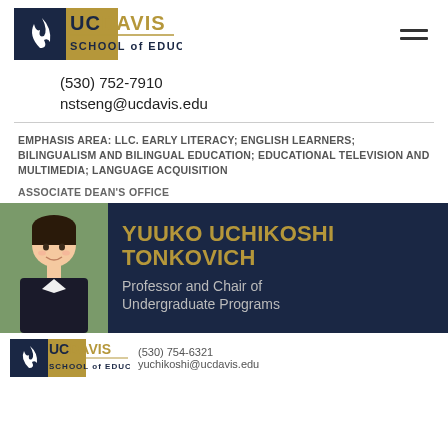UC DAVIS SCHOOL OF EDUCATION
(530) 752-7910
nstseng@ucdavis.edu
EMPHASIS AREA: LLC. EARLY LITERACY; ENGLISH LEARNERS; BILINGUALISM AND BILINGUAL EDUCATION; EDUCATIONAL TELEVISION AND MULTIMEDIA; LANGUAGE ACQUISITION
ASSOCIATE DEAN'S OFFICE
[Figure (photo): Headshot of Yuuko Uchikoshi Tonkovich, Professor and Chair of Undergraduate Programs, UC Davis School of Education]
YUUKO UCHIKOSHI TONKOVICH
Professor and Chair of Undergraduate Programs
[Figure (logo): UC Davis School of Education logo (bottom)]
yuchikoshi@ucdavis.edu